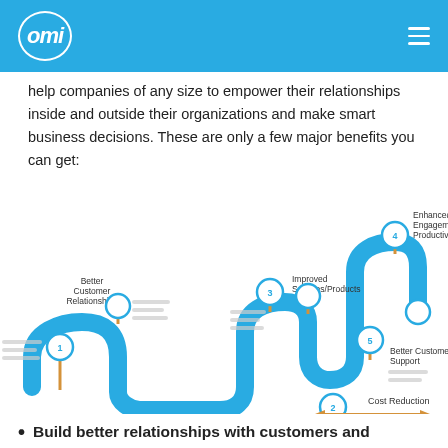omi
help companies of any size to empower their relationships inside and outside their organizations and make smart business decisions. These are only a few major benefits you can get:
[Figure (infographic): A winding path/roadmap infographic showing 5 CRM benefits as numbered stops: 1. Better Customer Relationships, 2. Cost Reduction (with double-headed arrow), 3. Improved Services/Products, 4. Enhanced Staff's Engagement and Productivity, 5. Better Customer Support. Each stop has a circle marker on a vertical gold/orange stem, connected by a thick blue winding line. Gray horizontal lines represent text/content near each stop.]
Build better relationships with customers and